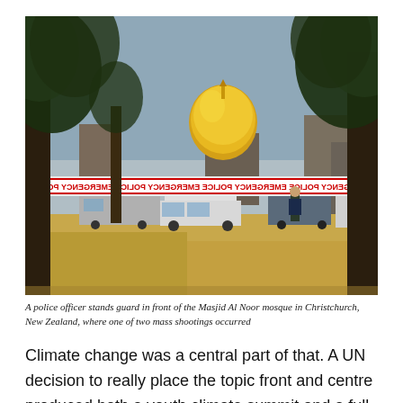[Figure (photo): A police officer stands guard in front of the Masjid Al Noor mosque in Christchurch, New Zealand. A golden dome is visible in the background, large trees frame the scene, police vehicles are parked along a road, and red and white 'EMERGENCY POLICE' tape is strung across the foreground.]
A police officer stands guard in front of the Masjid Al Noor mosque in Christchurch, New Zealand, where one of two mass shootings occurred
Climate change was a central part of that. A UN decision to really place the topic front and centre produced both a youth climate summit and a full-on event the day before leaders'